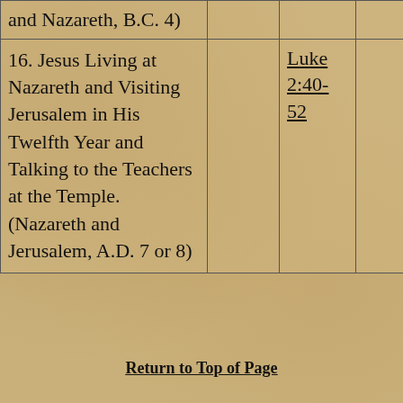| and Nazareth, B.C. 4) |  |  |  |
| 16. Jesus Living at Nazareth and Visiting Jerusalem in His Twelfth Year and Talking to the Teachers at the Temple. (Nazareth and Jerusalem, A.D. 7 or 8) |  | Luke 2:40-52 |  |
Return to Top of Page